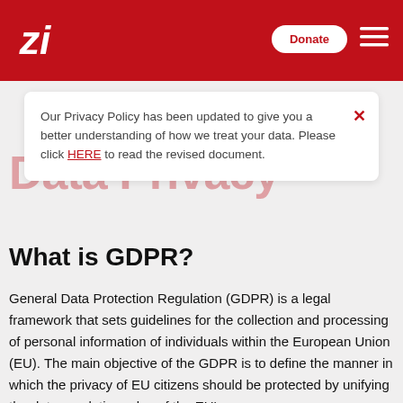Data Privacy — site header with logo, Donate button, and hamburger menu
Our Privacy Policy has been updated to give you a better understanding of how we treat your data. Please click HERE to read the revised document.
Data Privacy
What is GDPR?
General Data Protection Regulation (GDPR) is a legal framework that sets guidelines for the collection and processing of personal information of individuals within the European Union (EU). The main objective of the GDPR is to define the manner in which the privacy of EU citizens should be protected by unifying the data regulation rules of the EU's